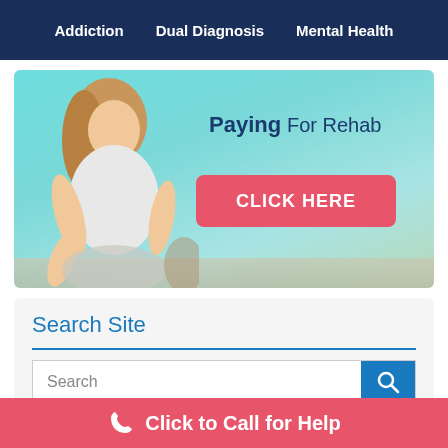Addiction   Dual Diagnosis   Mental Health
[Figure (illustration): Hero banner with a woman meditating outdoors against a teal sky background, with text 'Paying For Rehab' and a pink 'CLICK HERE' button]
Search Site
Search
Click to Call for Help